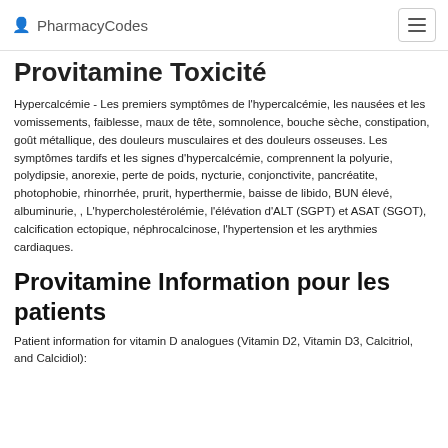PharmacyCodes
Provitamine Toxicité
Hypercalcémie - Les premiers symptômes de l'hypercalcémie, les nausées et les vomissements, faiblesse, maux de tête, somnolence, bouche sèche, constipation, goût métallique, des douleurs musculaires et des douleurs osseuses. Les symptômes tardifs et les signes d'hypercalcémie, comprennent la polyurie, polydipsie, anorexie, perte de poids, nycturie, conjonctivite, pancréatite, photophobie, rhinorrhée, prurit, hyperthermie, baisse de libido, BUN élevé, albuminurie, , L'hypercholestérolémie, l'élévation d'ALT (SGPT) et ASAT (SGOT), calcification ectopique, néphrocalcinose, l'hypertension et les arythmies cardiaques.
Provitamine Information pour les patients
Patient information for vitamin D analogues (Vitamin D2, Vitamin D3, Calcitriol, and Calcidiol):